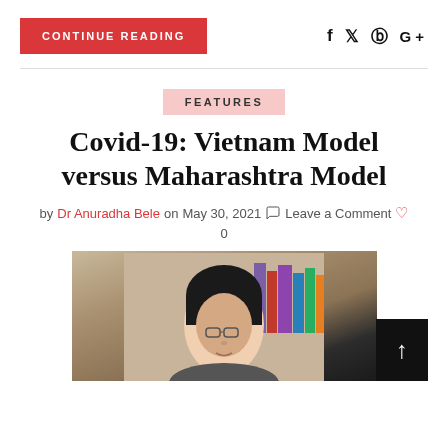CONTINUE READING
FEATURES
Covid-19: Vietnam Model versus Maharashtra Model
by Dr Anuradha Bele on May 30, 2021  Leave a Comment  0
[Figure (photo): Headshot photo of Dr Anuradha Bele against a background with books]